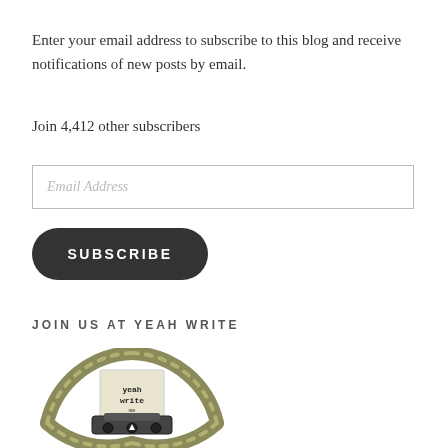Enter your email address to subscribe to this blog and receive notifications of new posts by email.
Join 4,412 other subscribers
Email Address
SUBSCRIBE
JOIN US AT YEAH WRITE
[Figure (logo): Yeah Write logo — a circular rope border enclosing a vintage typewriter with a paper sheet showing the text 'yeah write me']